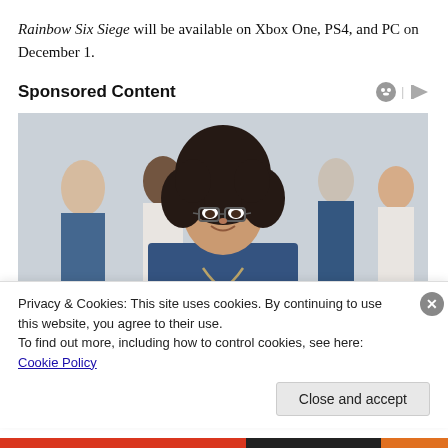Rainbow Six Siege will be available on Xbox One, PS4, and PC on December 1.
Sponsored Content
[Figure (photo): Group of healthcare workers in blue scrubs smiling, with a woman in the foreground wearing glasses and a stethoscope.]
Privacy & Cookies: This site uses cookies. By continuing to use this website, you agree to their use. To find out more, including how to control cookies, see here: Cookie Policy
Close and accept